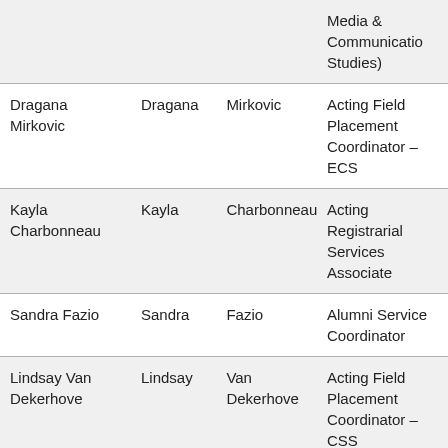| Full Name | First Name | Last Name | Role |
| --- | --- | --- | --- |
|  |  |  | Media & Communication Studies) |
| Dragana Mirkovic | Dragana | Mirkovic | Acting Field Placement Coordinator – ECS |
| Kayla Charbonneau | Kayla | Charbonneau | Acting Registrarial Services Associate |
| Sandra Fazio | Sandra | Fazio | Alumni Service Coordinator |
| Lindsay Van Dekerhove | Lindsay | Van Dekerhove | Acting Field Placement Coordinator – CSS |